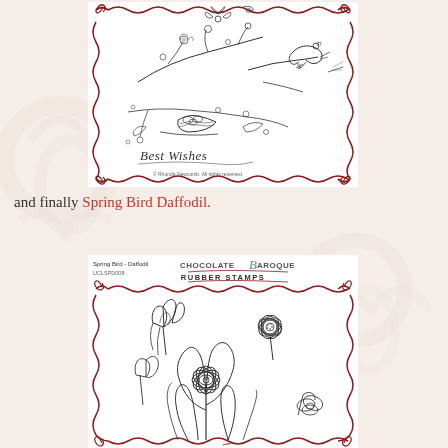[Figure (illustration): Rubber stamp product image showing birds, floral branches, a nest with eggs, and 'Best Wishes' script text, framed with decorative dark red curly border. Chocolate Baroque brand stamp.]
and finally Spring Bird Daffodil.
[Figure (illustration): Rubber stamp product image titled 'Spring Bird - Daffodil' with Chocolate Baroque Rubber Stamps logo/header, showing detailed line art of daffodil flowers, framed with decorative dark red curly border.]